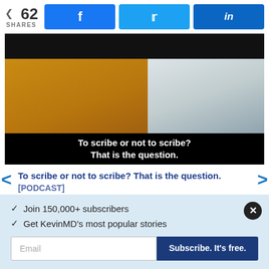62 SHARES — Facebook, Twitter, LinkedIn share buttons
[Figure (screenshot): Video screenshot showing two people in a video call with subtitle text 'To scribe or not to scribe? That is the question.']
To scribe or not to scribe? That is the question.
[PODCAST]
✓  Join 150,000+ subscribers
✓  Get KevinMD's most popular stories
Email — Subscribe. It's free.